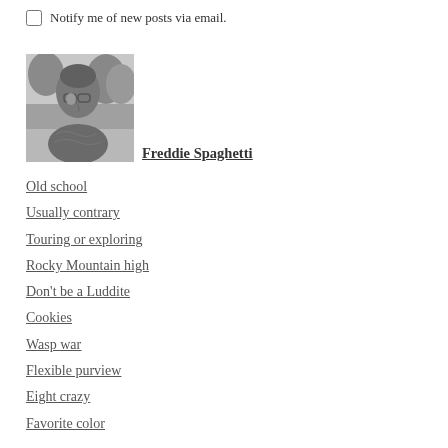Notify me of new posts via email.
[Figure (photo): Black and white profile photo of a person with glasses, viewed from the side, outdoors with trees in background]
Freddie Spaghetti
Old school
Usually contrary
Touring or exploring
Rocky Mountain high
Don't be a Luddite
Cookies
Wasp war
Flexible purview
Eight crazy
Favorite color